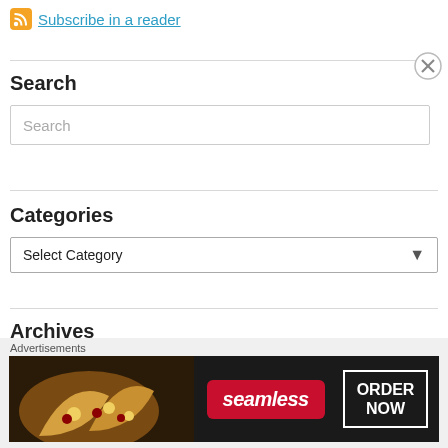Subscribe in a reader
Search
Search (input box)
Categories
Select Category (dropdown)
Archives
[Figure (other): Seamless food delivery advertisement banner showing pizza slices on left, Seamless logo in red, and ORDER NOW button in white border box on dark background.]